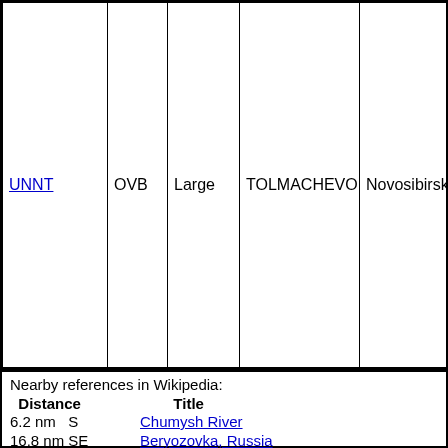| ICAO | IATA | Size | Name | City | Distance |
| --- | --- | --- | --- | --- | --- |
| UNNT | OVB | Large | TOLMACHEVO | Novosibirsk | 84 nm N |
Nearby references in Wikipedia:
| Distance | Title |
| --- | --- |
| 6.2 nm   S | Chumysh River |
| 16.8 nm SE | Beryozovka, Russia |
| 20.6 nm  S | Pavlovsk, Altai Krai |
| 16.2 nm NE | Talmensky District |